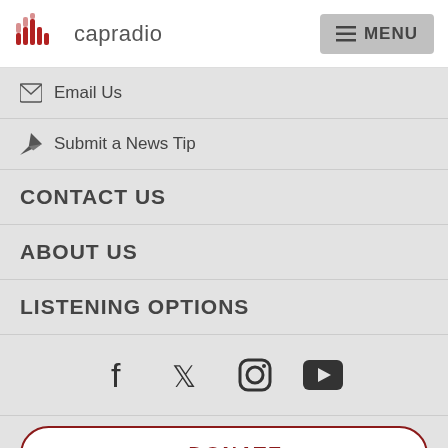capradio | MENU
Email Us
Submit a News Tip
CONTACT US
ABOUT US
LISTENING OPTIONS
[Figure (infographic): Social media icons row: Facebook, Twitter, Instagram, YouTube]
[Figure (infographic): Donate button with heart icon, red border]
[Figure (infographic): Listen button with play arrow icon, teal border]